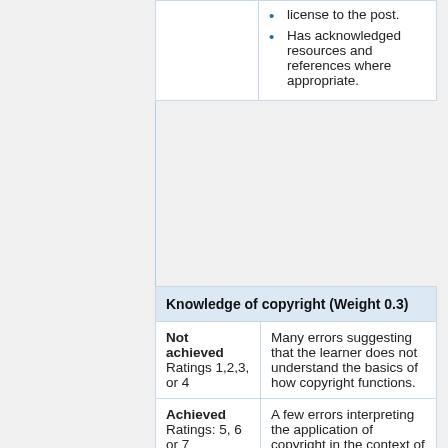|  |  |
| --- | --- |
|  | license to the post.
Has acknowledged resources and references where appropriate. |
| Knowledge of copyright (Weight 0.3) |  |
| --- | --- |
| Not achieved
Ratings 1,2,3, or 4 | Many errors suggesting that the learner does not understand the basics of how copyright functions. |
| Achieved
Ratings: 5, 6 or 7 | A few errors interpreting the application of copyright in the context of the MQC questions, or learner failed to cover a minimum of two dimensions of copyright i.e scope, ownership, rights, exceptions or transfer of |